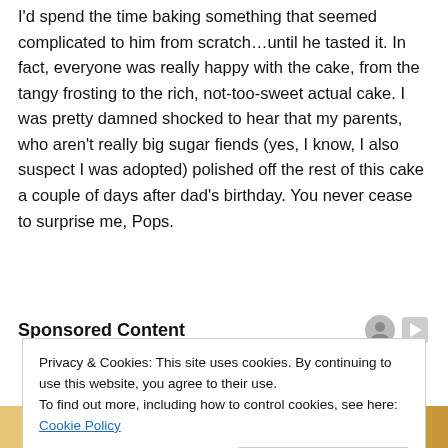I'd spend the time baking something that seemed complicated to him from scratch…until he tasted it. In fact, everyone was really happy with the cake, from the tangy frosting to the rich, not-too-sweet actual cake. I was pretty damned shocked to hear that my parents, who aren't really big sugar fiends (yes, I know, I also suspect I was adopted) polished off the rest of this cake a couple of days after dad's birthday. You never cease to surprise me, Pops.
Sponsored Content
Privacy & Cookies: This site uses cookies. By continuing to use this website, you agree to their use.
To find out more, including how to control cookies, see here: Cookie Policy
Close and accept